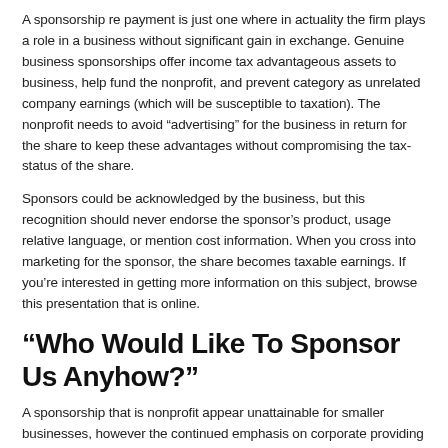A sponsorship re payment is just one where in actuality the firm plays a role in a business without significant gain in exchange. Genuine business sponsorships offer income tax advantageous assets to business, help fund the nonprofit, and prevent category as unrelated company earnings (which will be susceptible to taxation). The nonprofit needs to avoid “advertising” for the business in return for the share to keep these advantages without compromising the tax-status of the share.
Sponsors could be acknowledged by the business, but this recognition should never endorse the sponsor’s product, usage relative language, or mention cost information. When you cross into marketing for the sponsor, the share becomes taxable earnings. If you’re interested in getting more information on this subject, browse this presentation that is online.
“Who Would Like To Sponsor Us Anyhow?”
A sponsorship that is nonprofit appear unattainable for smaller businesses, however the continued emphasis on corporate providing additionally the wide selection of companies ready to be sponsors causes it to be feasible at any degree.